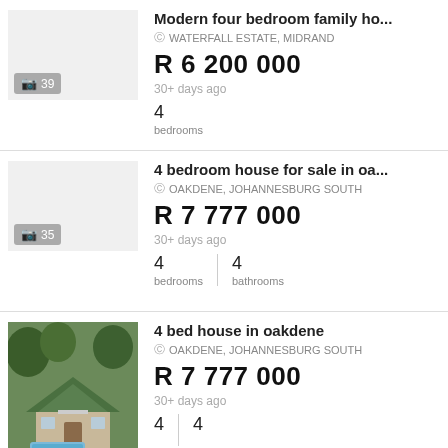Modern four bedroom family ho...
WATERFALL ESTATE, MIDRAND
R 6 200 000
30+ days ago
4 bedrooms
4 bedroom house for sale in oa...
OAKDENE, JOHANNESBURG SOUTH
R 7 777 000
30+ days ago
4 bedrooms | 4 bathrooms
4 bed house in oakdene
OAKDENE, JOHANNESBURG SOUTH
R 7 777 000
30+ days ago
4 | 4